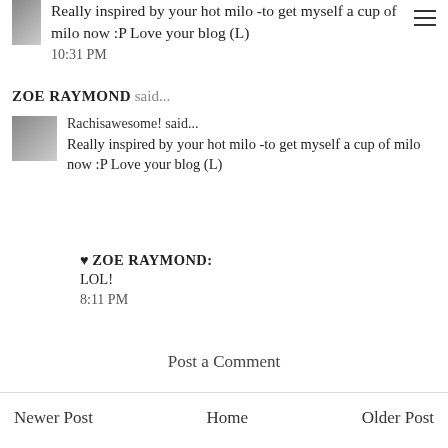Really inspired by your hot milo -to get myself a cup of milo now :P Love your blog (L)
10:31 PM
ZOE RAYMOND said...
Rachisawesome! said...
Really inspired by your hot milo -to get myself a cup of milo now :P Love your blog (L)
♥ ZOE RAYMOND:
LOL!
8:11 PM
Post a Comment
Newer Post   Home   Older Post